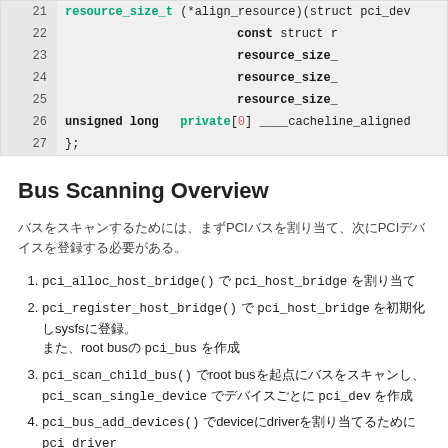[Figure (screenshot): Code block showing lines 21-27 of a C struct definition with resource_size_t, const struct, unsigned long private fields and closing brace]
Bus Scanning Overview
バスをスキャンするためには、まずPCIバスを割り当て、次にPCIデバイスを登録する必要がある。
1. pci_alloc_host_bridge() でpci_host_bridge を割り当て
2. pci_register_host_bridge() でpci_host_bridge を初期化しsysfsに登録。また、root busのpci_bus を作成
3. pci_scan_child_bus() でroot busを起点にバスをスキャンし、pci_scan_single_device でデバイスごとにpci_dev を作成
4. pci_bus_add_devices() でdeviceにdriverを割り当てるためにpci_driver